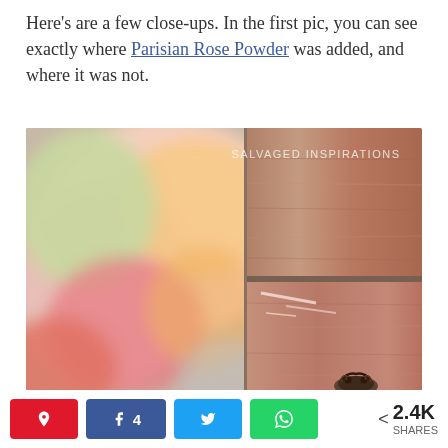Here's are a few close-ups. In the first pic, you can see exactly where Parisian Rose Powder was added, and where it was not.
[Figure (photo): Close-up photo showing a wooden drawer/furniture piece with brownish-gray finish, with blurred colorful flowers (pink, orange, green) on the left half. Watermark reads 'SALVAGED INSPIRATIONS' in the upper right area. A decorative metal drawer pull is visible at the bottom right.]
< 2.4K SHARES